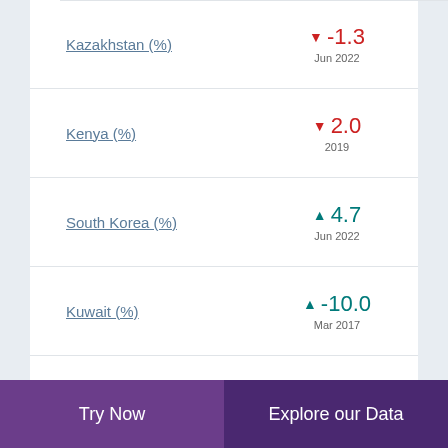Kazakhstan (%) ▼ -1.3 Jun 2022
Kenya (%) ▼ 2.0 2019
South Korea (%) ▲ 4.7 Jun 2022
Kuwait (%) ▲ -10.0 Mar 2017
Kyrgyzstan (%) ▲ 28.6 Jun 2022
Try Now    Explore our Data